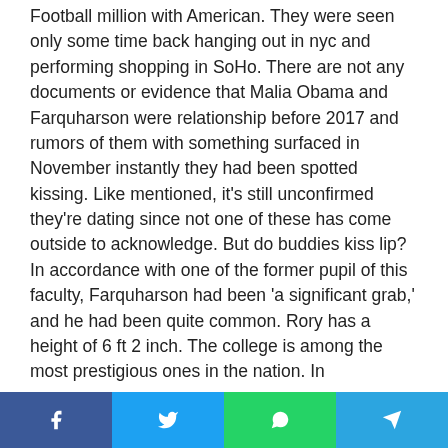Football million with American. They were seen only some time back hanging out in nyc and performing shopping in SoHo. There are not any documents or evidence that Malia Obama and Farquharson were relationship before 2017 and rumors of them with something surfaced in November instantly they had been spotted kissing. Like mentioned, it's still unconfirmed they're dating since not one of these has come outside to acknowledge. But do buddies kiss lip? In accordance with one of the former pupil of this faculty, Farquharson had been 'a significant grab,' and he had been quite common. Rory has a height of 6 ft 2 inch. The college is among the most prestigious ones in the nation. In
[Figure (other): Social sharing bar with four buttons: Facebook (f), Twitter (bird icon), WhatsApp (phone icon), Telegram (paper plane icon)]